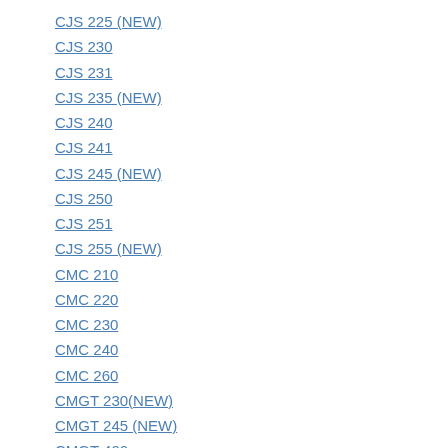CJS 225 (NEW)
CJS 230
CJS 231
CJS 235 (NEW)
CJS 240
CJS 241
CJS 245 (NEW)
CJS 250
CJS 251
CJS 255 (NEW)
CMC 210
CMC 220
CMC 230
CMC 240
CMC 260
CMGT 230(NEW)
CMGT 245 (NEW)
CMGT 400
CMGT 410